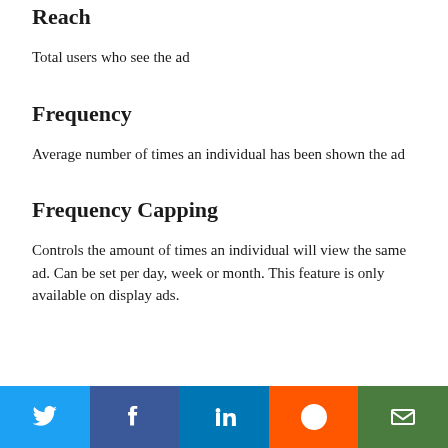Reach
Total users who see the ad
Frequency
Average number of times an individual has been shown the ad
Frequency Capping
Controls the amount of times an individual will view the same ad. Can be set per day, week or month. This feature is only available on display ads.
[Figure (infographic): Social share bar with Twitter, Facebook, LinkedIn, Reddit, and Email buttons]